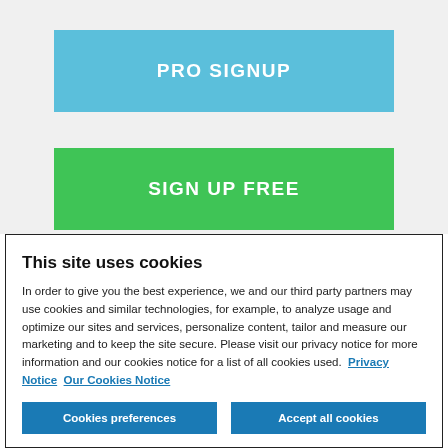PRO SIGNUP
SIGN UP FREE
This site uses cookies
In order to give you the best experience, we and our third party partners may use cookies and similar technologies, for example, to analyze usage and optimize our sites and services, personalize content, tailor and measure our marketing and to keep the site secure. Please visit our privacy notice for more information and our cookies notice for a list of all cookies used.  Privacy Notice  Our Cookies Notice
Cookies preferences
Accept all cookies